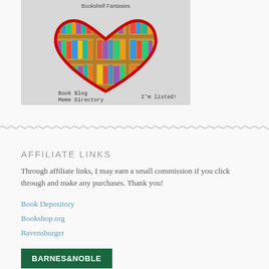[Figure (illustration): Book Blog Meme Directory badge showing a heart-shaped bookshelf with colorful books arranged inside a heart outline. Text reads 'Bookshelf Fantasies' at top, 'Book Blog Meme Directory' at bottom left, and 'I'm listed!' at bottom right.]
AFFILIATE LINKS
Through affiliate links, I may earn a small commission if you click through and make any purchases. Thank you!
Book Depository
Bookshop.org
Ravensburger
[Figure (logo): Barnes & Noble green rectangular badge/logo with white bold text reading BARNES&NOBLE]